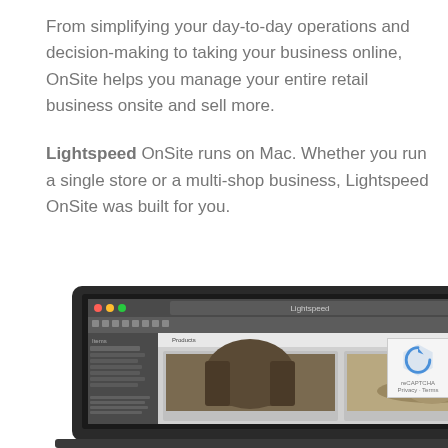From simplifying your day-to-day operations and decision-making to taking your business online, OnSite helps you manage your entire retail business onsite and sell more.

Lightspeed OnSite runs on Mac. Whether you run a single store or a multi-shop business, Lightspeed OnSite was built for you.
[Figure (screenshot): Screenshot of Lightspeed OnSite application running on a Mac laptop, showing a product catalog interface with images of clothing items including a jacket, hat, and other accessories.]